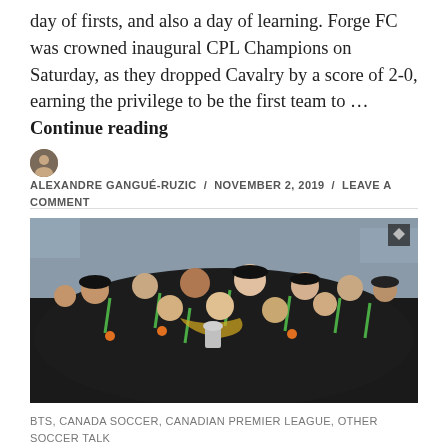day of firsts, and also a day of learning. Forge FC was crowned inaugural CPL Champions on Saturday, as they dropped Cavalry by a score of 2-0, earning the privilege to be the first team to … Continue reading
ALEXANDRE GANGUÉ-RUZIC / NOVEMBER 2, 2019 / LEAVE A COMMENT
[Figure (photo): Group photo of Forge FC players and staff celebrating their CPL Championship, wearing black uniforms with green medal lanyards, posing outdoors.]
BTS, CANADA SOCCER, CANADIAN PREMIER LEAGUE, OTHER SOCCER TALK